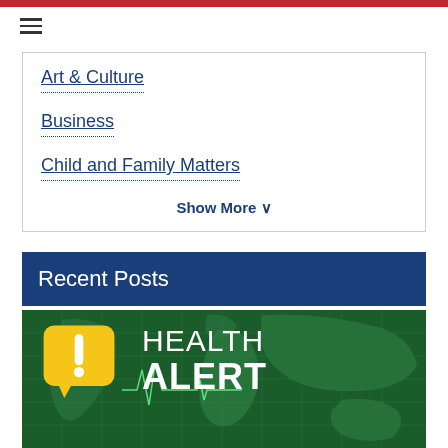Art & Culture
Business
Child and Family Matters
Show More V
Recent Posts
[Figure (photo): Health Alert banner image with dark green world map background, yellow exclamation point speech bubble/pin icon on left, and white text reading HEALTH ALERT on the right.]